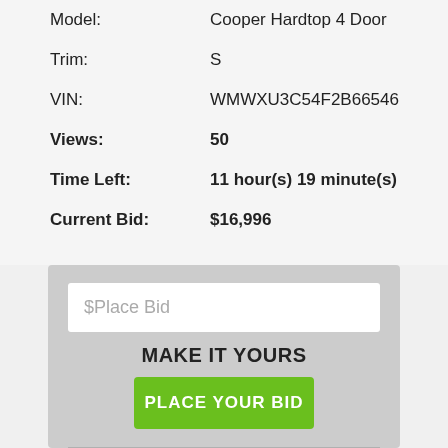| Model: | Cooper Hardtop 4 Door |
| Trim: | S |
| VIN: | WMWXU3C54F2B66546 |
| Views: | 50 |
| Time Left: | 11 hour(s) 19 minute(s) |
| Current Bid: | $16,996 |
[Figure (screenshot): Bid input box with placeholder text '$Place Bid']
MAKE IT YOURS
PLACE YOUR BID
Buy Now